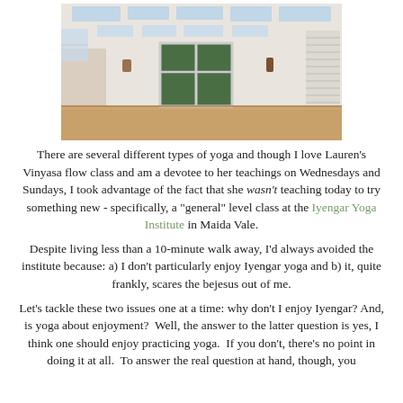[Figure (photo): Interior of a bright yoga studio with white walls, skylights in the ceiling, large glass doors/windows showing greenery outside, wooden floor, and shuttered windows on the right wall.]
There are several different types of yoga and though I love Lauren's Vinyasa flow class and am a devotee to her teachings on Wednesdays and Sundays, I took advantage of the fact that she wasn't teaching today to try something new - specifically, a "general" level class at the Iyengar Yoga Institute in Maida Vale.
Despite living less than a 10-minute walk away, I'd always avoided the institute because: a) I don't particularly enjoy Iyengar yoga and b) it, quite frankly, scares the bejesus out of me.
Let's tackle these two issues one at a time: why don't I enjoy Iyengar? And, is yoga about enjoyment?  Well, the answer to the latter question is yes, I think one should enjoy practicing yoga.  If you don't, there's no point in doing it at all.  To answer the real question at hand, though, you need to understand a little bit more about Iyengar yoga and what it...